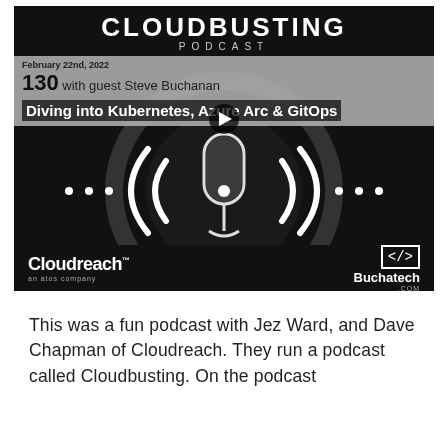[Figure (screenshot): Cloudbusting Podcast episode 130 thumbnail. Dark background with microphone graphic. Episode date: February 22nd, 2022. Title: 'Diving into Kubernetes, Azure Arc & GitOps' with guest Steve Buchanan. Sponsors: Cloudreach (an atos company) and Buchatech.com.]
This was a fun podcast with Jez Ward, and Dave Chapman of Cloudreach. They run a podcast called Cloudbusting. On the podcast